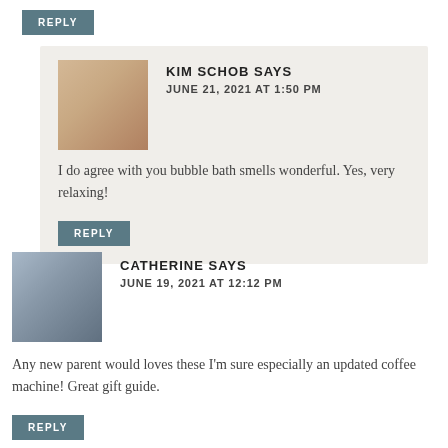REPLY
KIM SCHOB SAYS
JUNE 21, 2021 AT 1:50 PM
I do agree with you bubble bath smells wonderful. Yes, very relaxing!
REPLY
CATHERINE SAYS
JUNE 19, 2021 AT 12:12 PM
Any new parent would loves these I'm sure especially an updated coffee machine! Great gift guide.
REPLY